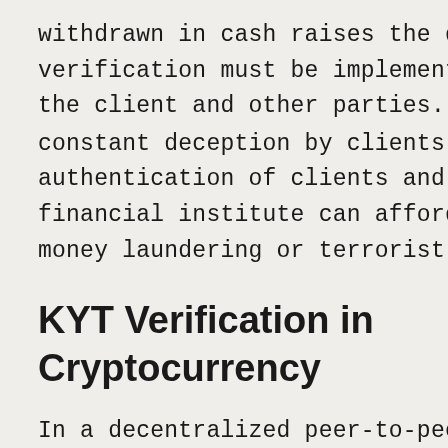withdrawn in cash raises the doubt and KYT verification must be implemented to authenticate the client and other parties. In this phase of constant deception by clients and uns authentication of clients and their acti financial institute can afford a single a money laundering or terrorist financin
KYT Verification in Cryptocurrency
In a decentralized peer-to-peer mark public ledger being tampered with mig but the absence of a regulatory powe makes drug traffickers, money launde